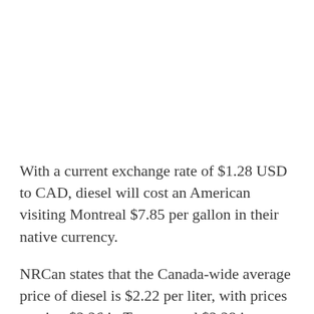With a current exchange rate of $1.28 USD to CAD, diesel will cost an American visiting Montreal $7.85 per gallon in their native currency.
NRCan states that the Canada-wide average price of diesel is $2.22 per liter, with prices posting $2.26 in Toronto and $2.28 in Vancouver.